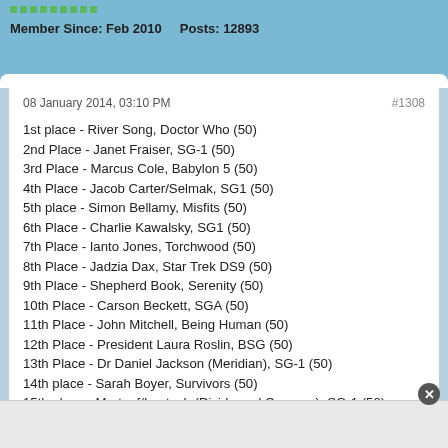Member Since: Feb 2010   Posts: 12893
08 January 2014, 03:10 PM   #1308
1st place - River Song, Doctor Who (50)
2nd Place - Janet Fraiser, SG-1 (50)
3rd Place - Marcus Cole, Babylon 5 (50)
4th Place - Jacob Carter/Selmak, SG1 (50)
5th place - Simon Bellamy, Misfits (50)
6th Place - Charlie Kawalsky, SG1 (50)
7th Place - Ianto Jones, Torchwood (50)
8th Place - Jadzia Dax, Star Trek DS9 (50)
9th Place - Shepherd Book, Serenity (50)
10th Place - Carson Beckett, SGA (50)
11th Place - John Mitchell, Being Human (50)
12th Place - President Laura Roslin, BSG (50)
13th Place - Dr Daniel Jackson (Meridian), SG-1 (50)
14th place - Sarah Boyer, Survivors (50)
15th place - Martouf/Lantash (Divide and Conquer), SG-1 (50)